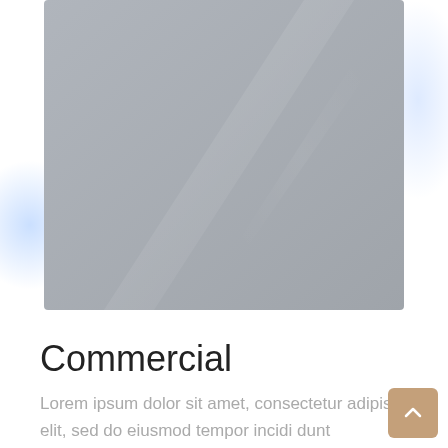[Figure (photo): A large gray rectangular image/photo placeholder with subtle diagonal light reflections, displayed with soft blue glowing highlights on the left and right edges against a white background.]
Commercial
Lorem ipsum dolor sit amet, consectetur adipiscing elit, sed do eiusmod tempor incidi dunt